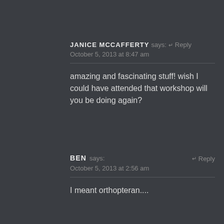JANICE MCCAFFERTY says: ↵ Reply
October 5, 2013 at 8:47 am
amazing and fascinating stuff! wish I could have attended that workshop will you be doing again?
BEN says: ↵ Reply
October 5, 2013 at 2:56 am
I meant orthopteran....